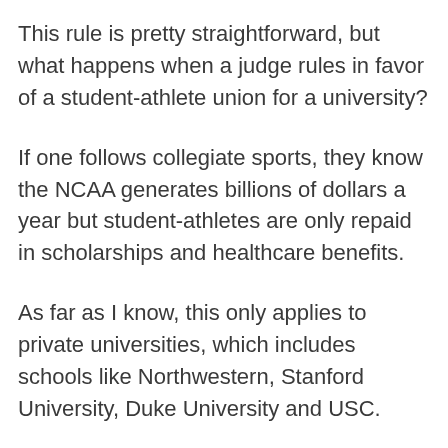This rule is pretty straightforward, but what happens when a judge rules in favor of a student-athlete union for a university?
If one follows collegiate sports, they know the NCAA generates billions of dollars a year but student-athletes are only repaid in scholarships and healthcare benefits.
As far as I know, this only applies to private universities, which includes schools like Northwestern, Stanford University, Duke University and USC.
These student-athletes will be able to set up a